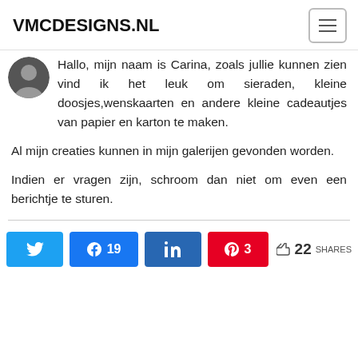VMCDESIGNS.NL
[Figure (photo): Circular avatar photo of Carina, partially visible at top]
Hallo, mijn naam is Carina, zoals jullie kunnen zien vind ik het leuk om sieraden, kleine doosjes,wenskaarten en andere kleine cadeautjes van papier en karton te maken.
Al mijn creaties kunnen in mijn galerijen gevonden worden.
Indien er vragen zijn, schroom dan niet om even een berichtje te sturen.
Twitter share button, Facebook 19 shares, LinkedIn share button, Pinterest 3 shares, < 22 SHARES